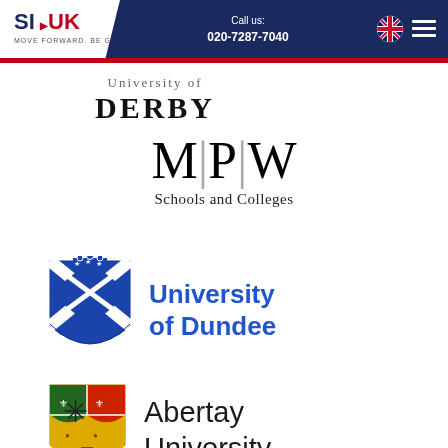SI-UK | Call us: 020-7287-7040
[Figure (logo): University of Derby logo — text reading DERBY in bold serif]
[Figure (logo): MPW Schools and Colleges logo — large serif M|P|W letters with text 'Schools and Colleges']
[Figure (logo): University of Dundee logo — blue shield crest with crown and saltire, blue text 'University of Dundee']
[Figure (logo): Abertay University logo — colourful heraldic shield with text 'Abertay University']
[Figure (logo): Small star/asterisk decorative mark at bottom left]